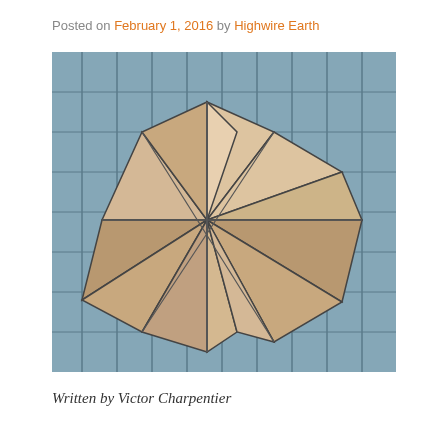Posted on February 1, 2016 by Highwire Earth
[Figure (photo): Architectural sculpture on a glass building facade — a large geometric star/polyhedron shape made of triangular panels in beige/tan tones, mounted on or in front of a glass curtain wall building.]
Written by Victor Charpentier